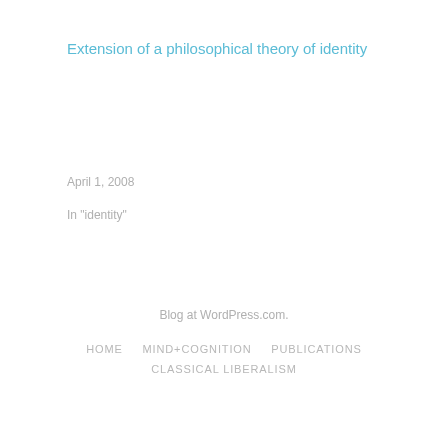Extension of a philosophical theory of identity
April 1, 2008
In "identity"
Blog at WordPress.com.
HOME   MIND+COGNITION   PUBLICATIONS   CLASSICAL LIBERALISM